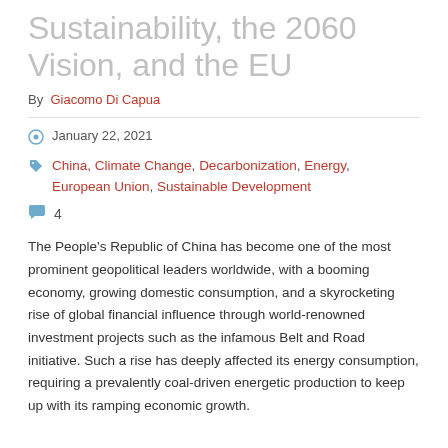Sustainability, the 2060 Vision, and the EU
By  Giacomo Di Capua
January 22, 2021
China, Climate Change, Decarbonization, Energy, European Union, Sustainable Development
4
The People's Republic of China has become one of the most prominent geopolitical leaders worldwide, with a booming economy, growing domestic consumption, and a skyrocketing rise of global financial influence through world-renowned investment projects such as the infamous Belt and Road initiative. Such a rise has deeply affected its energy consumption, requiring a prevalently coal-driven energetic production to keep up with its ramping economic growth.